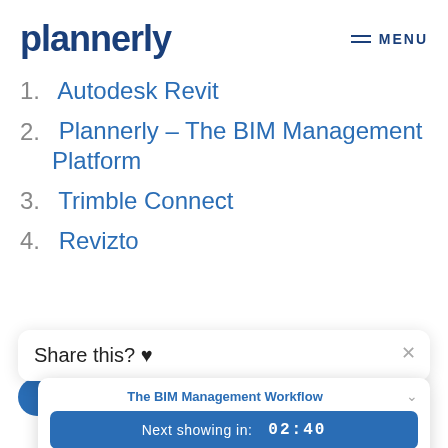plannerly
1. Autodesk Revit
2. Plannerly – The BIM Management Platform
3. Trimble Connect
4. Revizto
Share this? ♥
The BIM Management Workflow
Next showing in:  02:40
4 more sessions ›